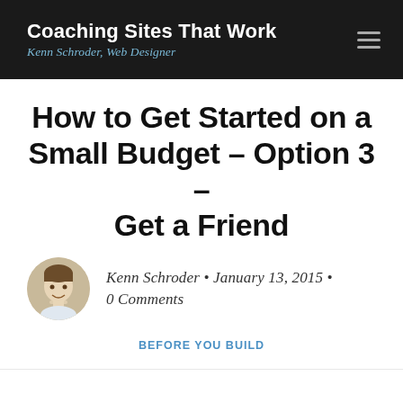Coaching Sites That Work — Kenn Schroder, Web Designer
How to Get Started on a Small Budget – Option 3 – Get a Friend
Kenn Schroder • January 13, 2015 • 0 Comments
BEFORE YOU BUILD